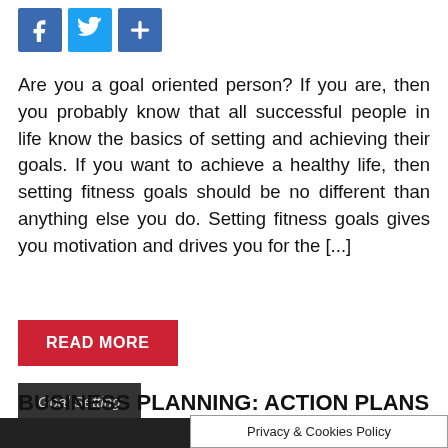[Figure (other): Social sharing icons: Facebook (blue f), Twitter (blue bird), and Share (blue plus) buttons]
Are you a goal oriented person? If you are, then you probably know that all successful people in life know the basics of setting and achieving their goals. If you want to achieve a healthy life, then setting fitness goals should be no different than anything else you do. Setting fitness goals gives you motivation and drives you for the [...]
READ MORE
Goal Setting
BUSINESS PLANNING: ACTION PLANS AND GOALS
Privacy & Cookies Policy